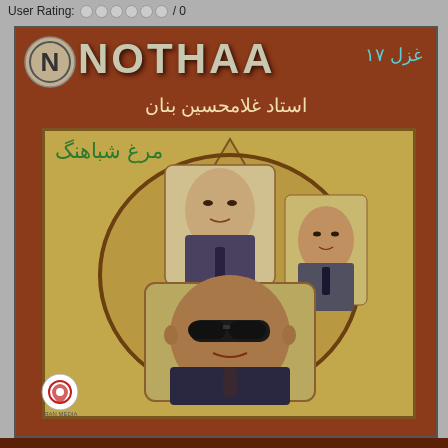User Rating: ○○○○○○ / 0
[Figure (photo): Music album cover for 'Morgh-e Shaahang' by Ostad Gholam Hossein Banan, published by NOTHA/Iran Media. Brown background with NOTHA logo at top left, Persian text 'غزل ۱۷' at top right, artist name 'استاد غلامحسین بنان' centered below logo. Inner rectangle with golden/beige background showing a decorative pointed oval frame containing a collage of three portraits of Banan at different ages (young man in suit, middle-aged man, older man with dark glasses). Album title 'مرغ شباهنگ' in green at top left of inner area. Iran Media logo at bottom left.]